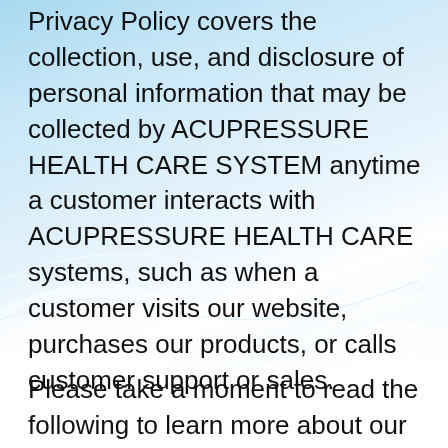Privacy Policy covers the collection, use, and disclosure of personal information that may be collected by ACUPRESSURE HEALTH CARE SYSTEM anytime a customer interacts with ACUPRESSURE HEALTH CARE systems, such as when a customer visits our website, purchases our products, or calls customer support or sales.
Please take a moment to read the following to learn more about our